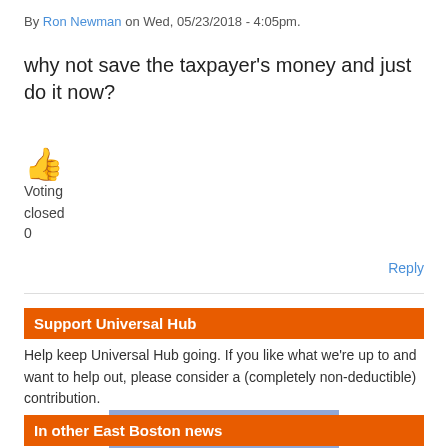By Ron Newman on Wed, 05/23/2018 - 4:05pm.
why not save the taxpayer's money and just do it now?
[Figure (illustration): Thumbs up emoji icon in orange/yellow color]
Voting
closed
0
Reply
Support Universal Hub
Help keep Universal Hub going. If you like what we're up to and want to help out, please consider a (completely non-deductible) contribution.
Support now
In other East Boston news